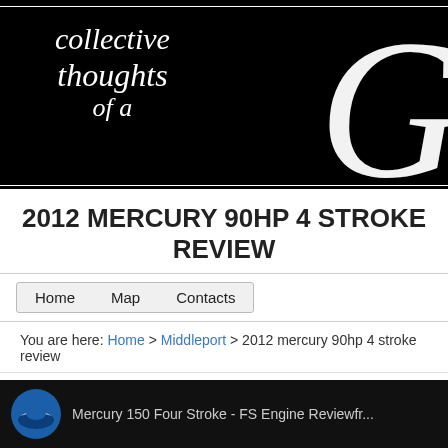[Figure (logo): Black banner header with cursive text reading 'collective thoughts of a' and a large decorative 'G' letter on the right]
2012 MERCURY 90HP 4 STROKE REVIEW
Home   Map   Contacts
You are here: Home > Middleport > 2012 mercury 90hp 4 stroke review
[Figure (screenshot): Bottom dark strip showing Mercury logo and text 'Mercury 150 Four Stroke - FS Engine Reviewfr...']